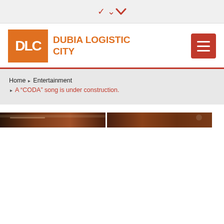[Figure (screenshot): Top navigation bar with a chevron/dropdown arrow icon in dark red on a light gray background]
[Figure (logo): Dubia Logistic City logo: orange DLC letters on orange background square, followed by 'DUBIA LOGISTIC CITY' in bold orange text. A red hamburger menu button on the right.]
Home ❯ Entertainment ❯ A "CODA" song is under construction.
[Figure (photo): Two dark brownish/reddish photos side by side showing interior spaces, partial view cropped at bottom]